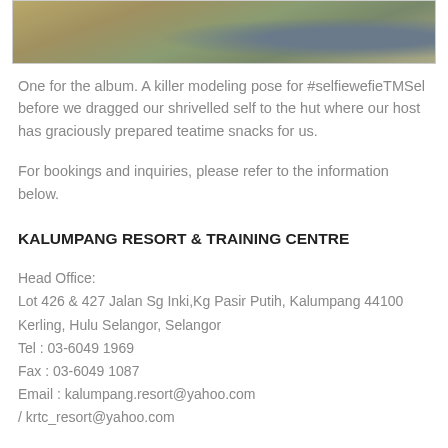[Figure (photo): Partial photo of water or rocky surface with greenish-brown tones, cropped at top of page]
One for the album. A killer modeling pose for #selfiewefieTMSel before we dragged our shrivelled self to the hut where our host has graciously prepared teatime snacks for us.
For bookings and inquiries, please refer to the information below.
KALUMPANG RESORT & TRAINING CENTRE
Head Office:
Lot 426 & 427 Jalan Sg Inki,Kg Pasir Putih, Kalumpang 44100 Kerling, Hulu Selangor, Selangor
Tel : 03-6049 1969
Fax : 03-6049 1087
Email : kalumpang.resort@yahoo.com
/ krtc_resort@yahoo.com